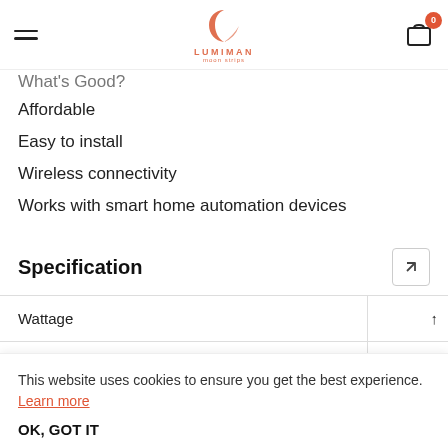LUMIMAN — navigation bar with hamburger menu, logo, and cart icon (0 items)
What's Good?
Affordable
Easy to install
Wireless connectivity
Works with smart home automation devices
Specification
|  |  |
| --- | --- |
| Wattage |  |
| Choice of Colors Available | 16 M |
This website uses cookies to ensure you get the best experience. Learn more
OK, GOT IT